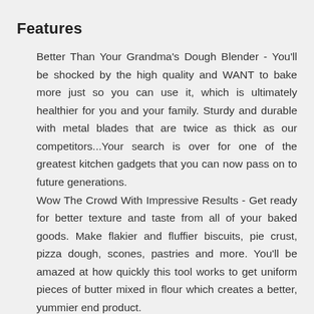Features
Better Than Your Grandma's Dough Blender - You'll be shocked by the high quality and WANT to bake more just so you can use it, which is ultimately healthier for you and your family. Sturdy and durable with metal blades that are twice as thick as our competitors...Your search is over for one of the greatest kitchen gadgets that you can now pass on to future generations.
Wow The Crowd With Impressive Results - Get ready for better texture and taste from all of your baked goods. Make flakier and fluffier biscuits, pie crust, pizza dough, scones, pastries and more. You'll be amazed at how quickly this tool works to get uniform pieces of butter mixed in flour which creates a better, yummier end product.